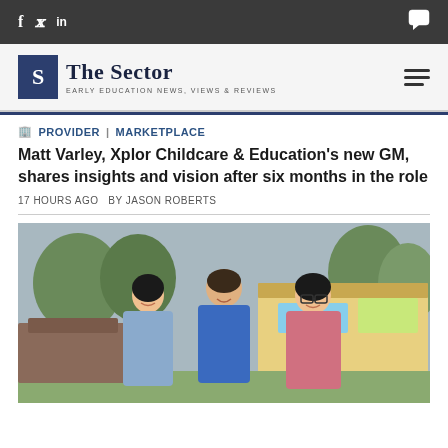f  tw  in  [chat icon]
[Figure (logo): The Sector logo — blue S box with 'The Sector' text and subtitle 'Early Education News, Views & Reviews', hamburger menu icon on right]
PROVIDER | MARKETPLACE
Matt Varley, Xplor Childcare & Education's new GM, shares insights and vision after six months in the role
17 HOURS AGO  BY JASON ROBERTS
[Figure (photo): Three people (two women and one man) standing outdoors smiling, in front of a colorful childcare/school building with playground equipment visible in the background.]